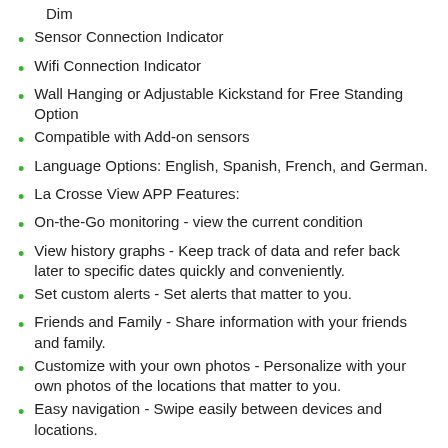Dim
Sensor Connection Indicator
Wifi Connection Indicator
Wall Hanging or Adjustable Kickstand for Free Standing Option
Compatible with Add-on sensors
Language Options: English, Spanish, French, and German.
La Crosse View APP Features:
On-the-Go monitoring - view the current condition
View history graphs - Keep track of data and refer back later to specific dates quickly and conveniently.
Set custom alerts - Set alerts that matter to you.
Friends and Family - Share information with your friends and family.
Customize with your own photos - Personalize with your own photos of the locations that matter to you.
Easy navigation - Swipe easily between devices and locations.